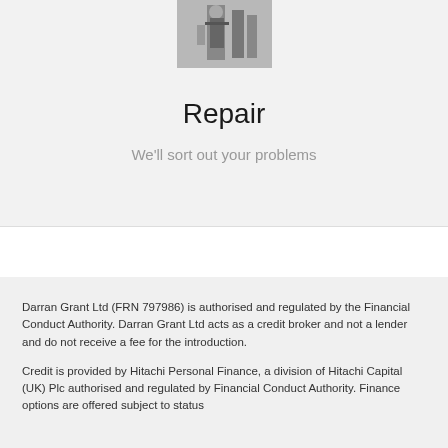[Figure (photo): Photo of a person doing a repair or installation, shown from behind, working with equipment on a wall]
Repair
We'll sort out your problems
Darran Grant Ltd (FRN 797986) is authorised and regulated by the Financial Conduct Authority. Darran Grant Ltd acts as a credit broker and not a lender and do not receive a fee for the introduction.
Credit is provided by Hitachi Personal Finance, a division of Hitachi Capital (UK) Plc authorised and regulated by Financial Conduct Authority. Finance options are offered subject to status